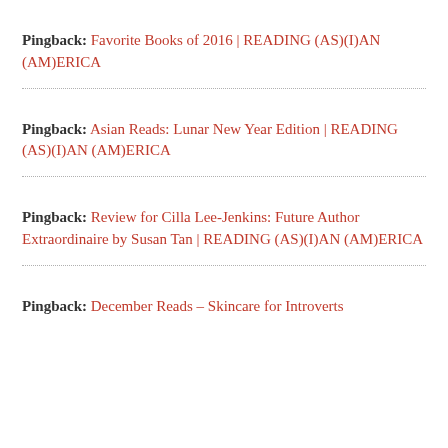Pingback: Favorite Books of 2016 | READING (AS)(I)AN (AM)ERICA
Pingback: Asian Reads: Lunar New Year Edition | READING (AS)(I)AN (AM)ERICA
Pingback: Review for Cilla Lee-Jenkins: Future Author Extraordinaire by Susan Tan | READING (AS)(I)AN (AM)ERICA
Pingback: December Reads – Skincare for Introverts